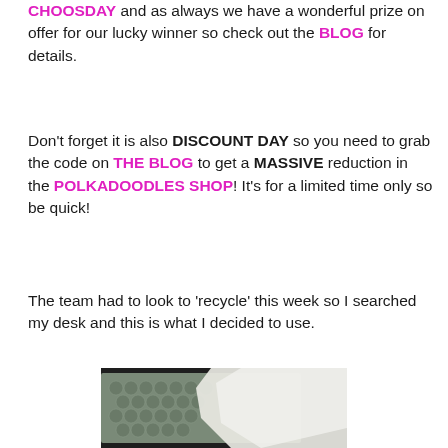CHOOSDAY and as always we have a wonderful prize on offer for our lucky winner so check out the BLOG for details.
Don't forget it is also DISCOUNT DAY so you need to grab the code on THE BLOG to get a MASSIVE reduction in the POLKADOODLES SHOP! It's for a limited time only so be quick!
The team had to look to 'recycle' this week so I searched my desk and this is what I decided to use.
[Figure (photo): Photo of bubble wrap envelope with a white cloth or tissue on top, on a dark background]